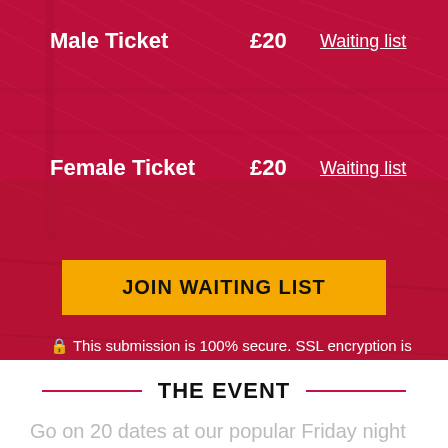Male Ticket  £20  Waiting list
Female Ticket  £20  Waiting list
JOIN WAITING LIST
🔒 This submission is 100% secure. SSL encryption is used to protect sensitive data.
THE EVENT
Go on 20 dates at our popular Friday night Speed